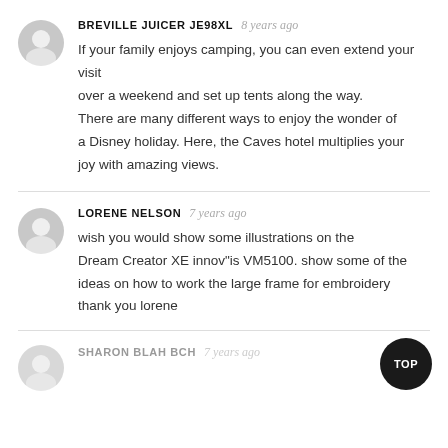BREVILLE JUICER JE98XL  8 years ago
If your family enjoys camping, you can even extend your visit over a weekend and set up tents along the way. There are many different ways to enjoy the wonder of a Disney holiday. Here, the Caves hotel multiplies your joy with amazing views.
LORENE NELSON  7 years ago
wish you would show some illustrations on the Dream Creator XE innov"is VM5100. show some of the ideas on how to work the large frame for embroidery thank you lorene
SHARON BLAH BCH  7 years ago